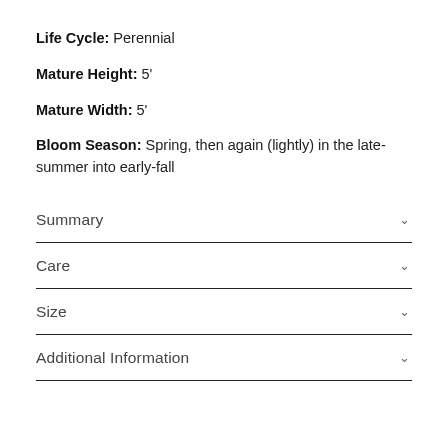Life Cycle: Perennial
Mature Height: 5'
Mature Width: 5'
Bloom Season: Spring, then again (lightly) in the late-summer into early-fall
Summary
Care
Size
Additional Information